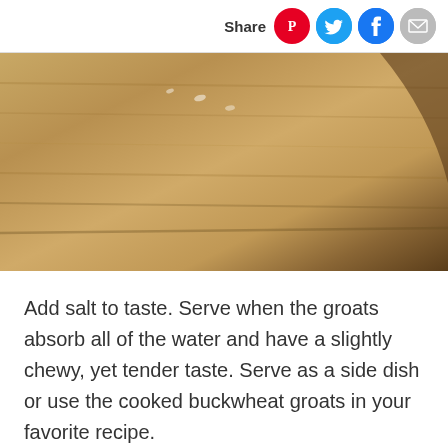Share
[Figure (photo): Close-up photograph of a wooden surface or cutting board with buckwheat groats, warm tan/brown tones with a curved dark element at top right.]
Add salt to taste. Serve when the groats absorb all of the water and have a slightly chewy, yet tender taste. Serve as a side dish or use the cooked buckwheat groats in your favorite recipe.
Advertisement